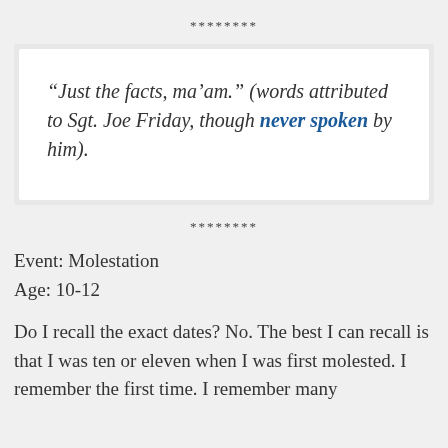********
“Just the facts, ma’am.” (words attributed to Sgt. Joe Friday, though never spoken by him).
********
Event: Molestation
Age: 10-12
Do I recall the exact dates? No. The best I can recall is that I was ten or eleven when I was first molested. I remember the first time. I remember many